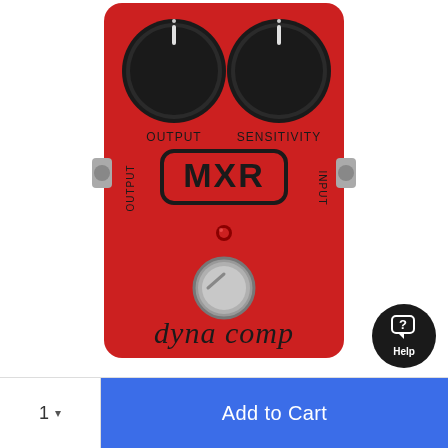[Figure (photo): MXR Dyna Comp guitar effects pedal — red metal enclosure with two black knobs labeled OUTPUT and SENSITIVITY, MXR logo in rounded rectangle, red LED indicator, silver footswitch, and 'dyna comp' text at bottom. Side jacks labeled OUTPUT and INPUT.]
[Figure (other): Black circular Help button with chat bubble and question mark icon, labeled 'Help']
1
Add to Cart